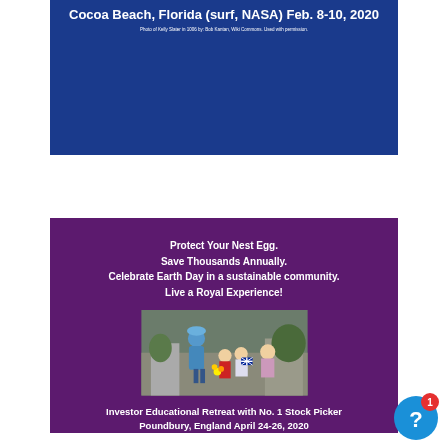[Figure (photo): Blue banner with white bold title text: Cocoa Beach, Florida (surf, NASA) Feb. 8-10, 2020, and a small photo credit caption below.]
[Figure (photo): Purple banner with white bold slogan text, a centered photo of a woman in blue (Queen Elizabeth) bending to receive flowers from children, and white bold text at bottom: Investor Educational Retreat with No. 1 Stock Picker, Poundbury, England April 24-26, 2020.]